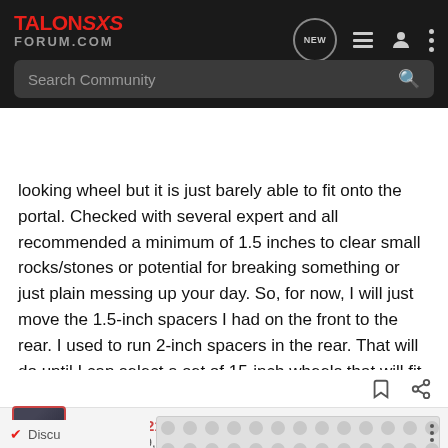TalonSXSForum.com navigation bar with search
looking wheel but it is just barely able to fit onto the portal. Checked with several expert and all recommended a minimum of 1.5 inches to clear small rocks/stones or potential for breaking something or just plain messing up your day. So, for now, I will just move the 1.5-inch spacers I had on the front to the rear. I used to run 2-inch spacers in the rear. That will do until I can select a set of 15-inch wheels that will fit properly.
BlueDog1210 · Premium Member
Joined Sep 9, 2019 · 1,119 Posts